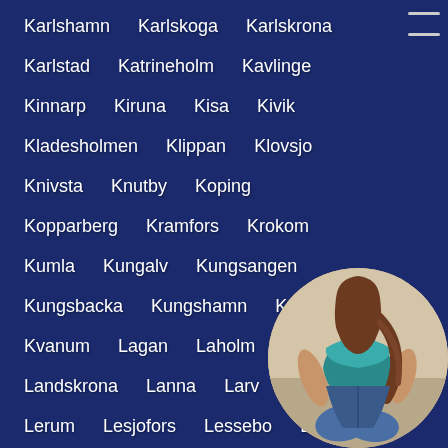Karlshamn
Karlskoga
Karlskrona
Karlstad
Katrineholm
Kavlinge
Kinnarp
Kiruna
Kisa
Kivik
Kladesholmen
Klippan
Klovsjo
Knivsta
Knutby
Koping
Kopparberg
Kramfors
Krokom
Kumla
Kungalv
Kungsangen
Kungsbacka
Kungshamn
Kungsor
Kvanum
Lagan
Laholm
Landskrona
Lanna
Larv
Lerum
Lesjofors
Lessebo
Lidingo
[Figure (photo): Circular avatar photo of a woman in teal/turquoise top and denim shorts, sitting with back facing viewer, brown hair, positioned in bottom-right corner]